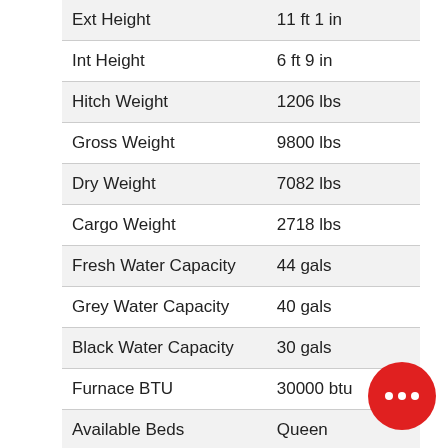| Spec | Value |
| --- | --- |
| Ext Height | 11 ft 1 in |
| Int Height | 6 ft 9 in |
| Hitch Weight | 1206 lbs |
| Gross Weight | 9800 lbs |
| Dry Weight | 7082 lbs |
| Cargo Weight | 2718 lbs |
| Fresh Water Capacity | 44 gals |
| Grey Water Capacity | 40 gals |
| Black Water Capacity | 30 gals |
| Furnace BTU | 30000 btu |
| Available Beds | Queen |
| Refrigerator Type | 12V |
| Refrigerator Size | 10 cu ft |
| Cooktop Burners | 3 |
| Number of Awnings | 1 |